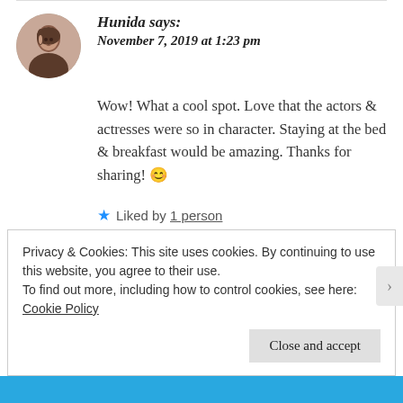Hunida says:
November 7, 2019 at 1:23 pm
Wow! What a cool spot. Love that the actors & actresses were so in character. Staying at the bed & breakfast would be amazing. Thanks for sharing! 😊
★ Liked by 1 person
Privacy & Cookies: This site uses cookies. By continuing to use this website, you agree to their use.
To find out more, including how to control cookies, see here: Cookie Policy
Close and accept